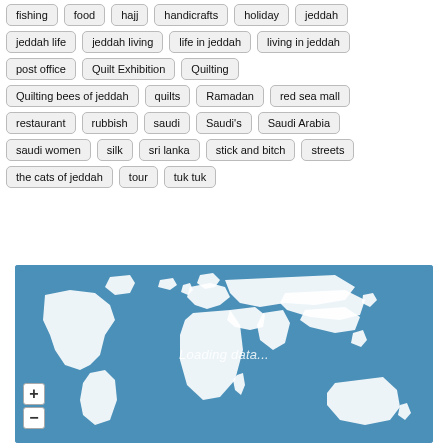fishing
food
hajj
handicrafts
holiday
jeddah
jeddah life
jeddah living
life in jeddah
living in jeddah
post office
Quilt Exhibition
Quilting
Quilting bees of jeddah
quilts
Ramadan
red sea mall
restaurant
rubbish
saudi
Saudi's
Saudi Arabia
saudi women
silk
sri lanka
stick and bitch
streets
the cats of jeddah
tour
tuk tuk
[Figure (map): Interactive world map with blue ocean background and white landmasses, showing 'Loading data...' text overlay, with zoom + and - buttons in bottom left corner]